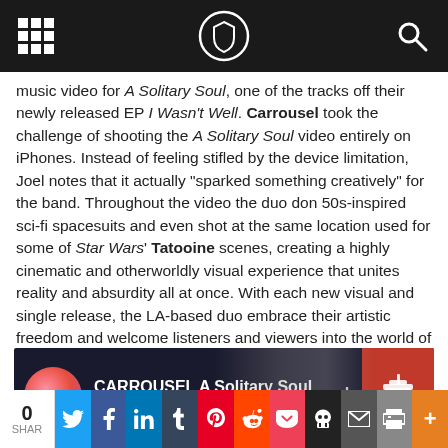Navigation bar with grid icon, logo, and search icon
music video for A Solitary Soul, one of the tracks off their newly released EP I Wasn't Well. Carrousel took the challenge of shooting the A Solitary Soul video entirely on iPhones. Instead of feeling stifled by the device limitation, Joel notes that it actually “sparked something creatively” for the band. Throughout the video the duo don 50s-inspired sci-fi spacesuits and even shot at the same location used for some of Star Wars’ Tatooine scenes, creating a highly cinematic and otherworldly visual experience that unites reality and absurdity all at once. With each new visual and single release, the LA-based duo embrace their artistic freedom and welcome listeners and viewers into the world of Carrousel.”
[Figure (screenshot): YouTube video thumbnail for CARROUSEL A Solitary Soul [OFFICI...] showing a circular avatar with pink/red hues, white title text, hands in background, and a coffee cup icon on the right against a dark background]
0 SHAR | Twitter | Facebook | LinkedIn | Tumblr | Pinterest | Reddit | Pocket | Skull | Email | Print | More